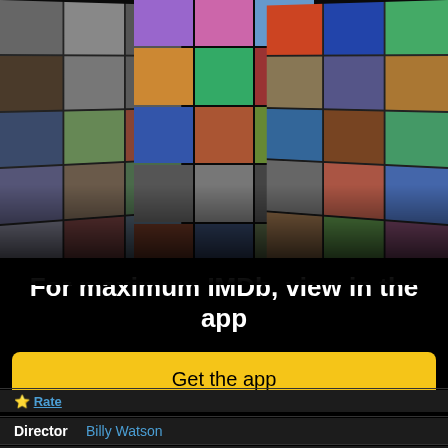[Figure (screenshot): IMDb collage of actor photos and movie posters arranged in a 3D fan/perspective layout on black background]
For maximum IMDb, view in the app
Get the app
Rate
Director  Billy Watson
Stars